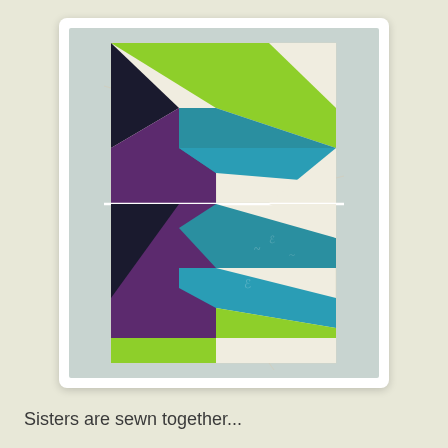[Figure (photo): A quilt block assembly made of fabric pieces in lime green, teal/turquoise with white swirl patterns, dark purple/black, and cream/white. The block is arranged in a flying geese or arrow pattern, sewn together in sections, displayed against a light gray background. Two halves of the block are laid side by side showing the construction in progress.]
Sisters are sewn together...